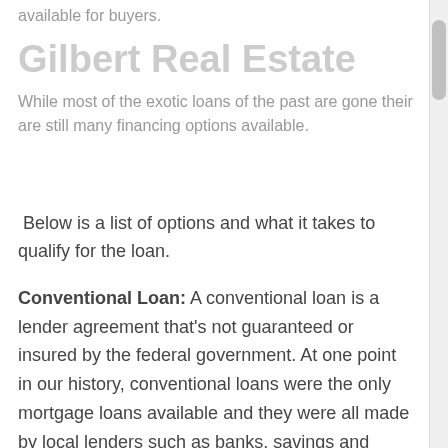available for buyers.
Gilbert Real Estate
While most of the exotic loans of the past are gone their are still many financing options available.
Below is a list of options and what it takes to qualify for the loan.
Conventional Loan: A conventional loan is a lender agreement that's not guaranteed or insured by the federal government. At one point in our history, conventional loans were the only mortgage loans available and they were all made by local lenders such as banks, savings and loans, and credit unions. They kept and serviced these loans in their own portfolio until they were either paid in full or foreclosed on.
A Conventional loan typically requires a large down payment that may not be required when financing